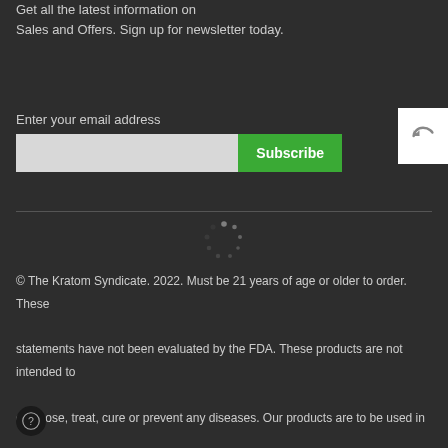Get all the latest information on Sales and Offers. Sign up for newsletter today.
Enter your email address
Subscribe
[Figure (other): Back/reply arrow button on white background]
[Figure (other): Loading spinner dots circle]
© The Kratom Syndicate. 2022. Must be 21 years of age or older to order. These statements have not been evaluated by the FDA. These products are not intended to diagnose, treat, cure or prevent any diseases. Our products are to be used in accordance with your state and local laws. By using this website, you agree to our Terms and Conditions and Privacy Policy
[Figure (other): Help/question mark circle button]